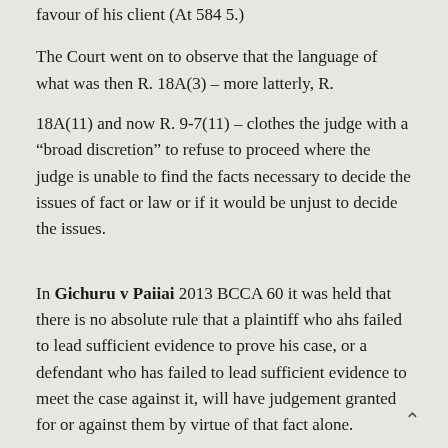favour of his client (At 584 5.)
The Court went on to observe that the language of what was then R. 18A(3) – more latterly, R.
18A(11) and now R. 9-7(11) – clothes the judge with a “broad discretion” to refuse to proceed where the judge is unable to find the facts necessary to decide the issues of fact or law or if it would be unjust to decide the issues.
In Gichuru v Paiiai 2013 BCCA 60 it was held that there is no absolute rule that a plaintiff who ahs failed to lead sufficient evidence to prove his case, or a defendant who has failed to lead sufficient evidence to meet the case against it, will have judgement granted for or against them by virtue of that fact alone.